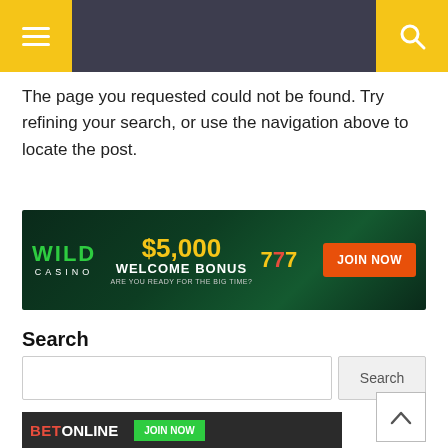Navigation header with menu and search buttons
The page you requested could not be found. Try refining your search, or use the navigation above to locate the post.
[Figure (infographic): Wild Casino advertisement banner: $5,000 Welcome Bonus with 777 slot machine image and JOIN NOW button]
Search
Search input field with Search button
ONLINE SPORTSBOOKS
[Figure (infographic): BetOnline banner advertisement with JOIN NOW button]